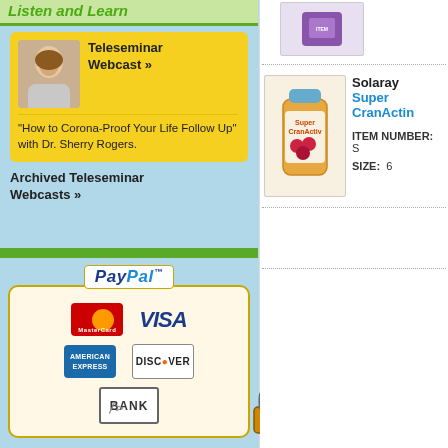Listen and Learn
Teleseminar Webcast » "How to Corona-Proof Your Life Follow Up" with Dr. Sherry Rogers.
Archived Teleseminar Webcasts »
[Figure (logo): PayPal logo with payment method icons: MasterCard, VISA, American Express, Discover, BANK]
/>
[Figure (illustration): Padlock security icon]
[Figure (photo): Product image top - purple supplement bottle]
Solaray
Super CranActin
ITEM NUMBER: S
SIZE: 6
[Figure (photo): Solaray Super CranActin supplement bottle - orange bottle with cranberry imagery]